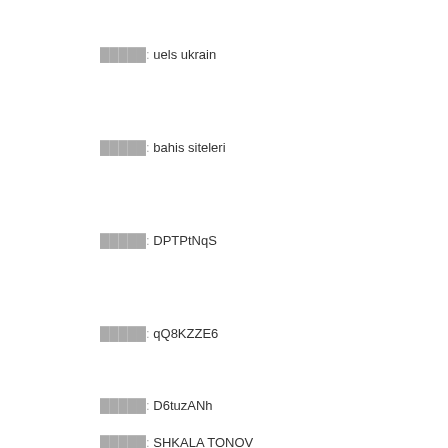█████: uels ukrain
█████: bahis siteleri
█████: DPTPtNqS
█████: qQ8KZZE6
█████: D6tuzANh
█████: SHKALA TONOV